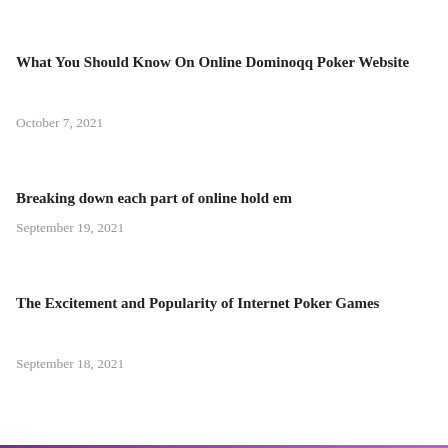What You Should Know On Online Dominoqq Poker Website
October 7, 2021
Breaking down each part of online hold em
September 19, 2021
The Excitement and Popularity of Internet Poker Games
September 18, 2021